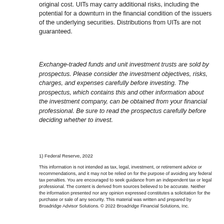original cost. UITs may carry additional risks, including the potential for a downturn in the financial condition of the issuers of the underlying securities. Distributions from UITs are not guaranteed.
Exchange-traded funds and unit investment trusts are sold by prospectus. Please consider the investment objectives, risks, charges, and expenses carefully before investing. The prospectus, which contains this and other information about the investment company, can be obtained from your financial professional. Be sure to read the prospectus carefully before deciding whether to invest.
1) Federal Reserve, 2022
This information is not intended as tax, legal, investment, or retirement advice or recommendations, and it may not be relied on for the purpose of avoiding any federal tax penalties. You are encouraged to seek guidance from an independent tax or legal professional. The content is derived from sources believed to be accurate. Neither the information presented nor any opinion expressed constitutes a solicitation for the purchase or sale of any security. This material was written and prepared by Broadridge Advisor Solutions. © 2022 Broadridge Financial Solutions, Inc.